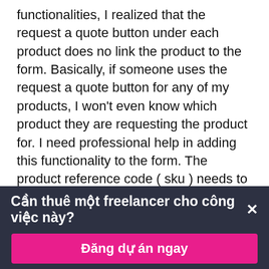functionalities, I realized that the request a quote button under each product does no link the product to the form. Basically, if someone uses the request a quote button for any of my products, I won't even know which product they are requesting the product for. I need professional help in adding this functionality to the form. The product reference code ( sku ) needs to automatically linked to the form. I am not looking for just an added field on the form where the customer can enter the sku manually ( since they won't even remember what the sku number is ). I am looking for a way to automatically link the sku number to the form. I would want that the customer chooses ALL the products that they want to request a quote for
Cần thuê một freelancer cho công việc này? ×
Đăng dự án ngay